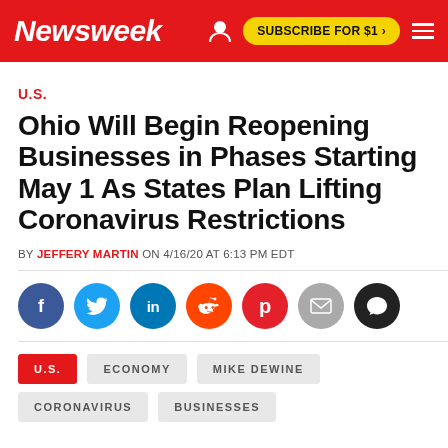Newsweek | SUBSCRIBE FOR $1 >
U.S.
Ohio Will Begin Reopening Businesses in Phases Starting May 1 As States Plan Lifting Coronavirus Restrictions
BY JEFFERY MARTIN ON 4/16/20 AT 6:13 PM EDT
[Figure (other): Social share buttons: Facebook, Twitter, LinkedIn, Reddit, Flipboard, Email, Comments]
U.S.  ECONOMY  MIKE DEWINE  CORONAVIRUS  BUSINESSES